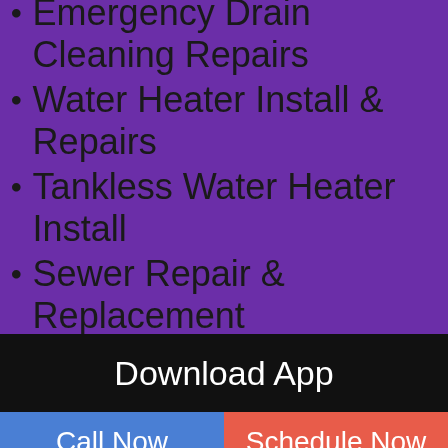Emergency Drain Cleaning Repairs
Water Heater Install & Repairs
Tankless Water Heater Install
Sewer Repair & Replacement
Trenchless Sewer Line Replacement
Water Line Leaks
Gas Line Leaks
Water Filtration System
Download App
Call Now
Schedule Now